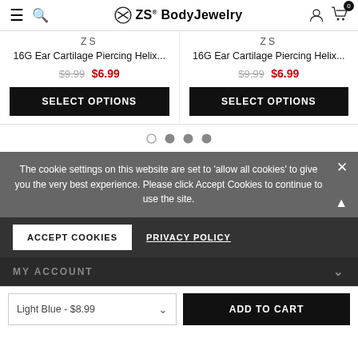ZS BodyJewelry - navigation header with menu, search, account, cart (0)
ZS
16G Ear Cartilage Piercing Helix...
$9.99  $6.99
ZS
16G Ear Cartilage Piercing Helix...
$9.99  $6.99
[Figure (screenshot): Carousel pagination dots: 1 empty, 3 filled]
The cookie settings on this website are set to 'allow all cookies' to give you the very best experience. Please click Accept Cookies to continue to use the site.
ACCEPT COOKIES   PRIVACY POLICY
MY ACCOUNT
Light Blue - $8.99  ADD TO CART